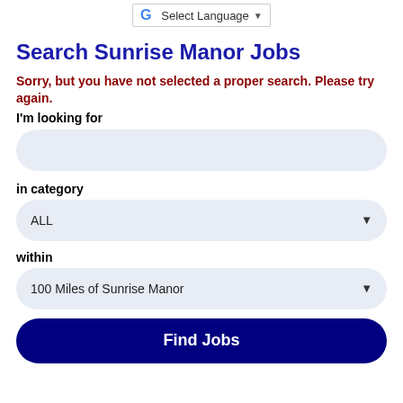Select Language
Search Sunrise Manor Jobs
Sorry, but you have not selected a proper search. Please try again.
I'm looking for
in category
ALL
within
100 Miles of Sunrise Manor
Find Jobs